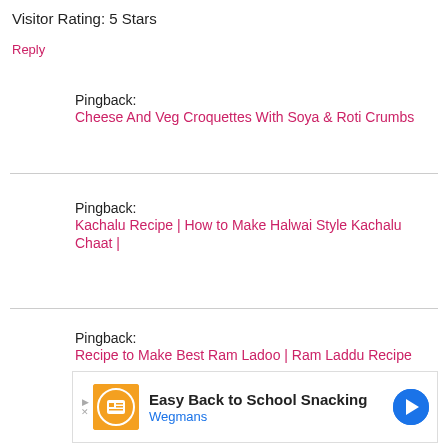Visitor Rating: 5 Stars
Reply
Pingback:
Cheese And Veg Croquettes With Soya & Roti Crumbs
Pingback:
Kachalu Recipe | How to Make Halwai Style Kachalu Chaat |
Pingback:
Recipe to Make Best Ram Ladoo | Ram Laddu Recipe
[Figure (other): Advertisement banner: Easy Back to School Snacking - Wegmans]